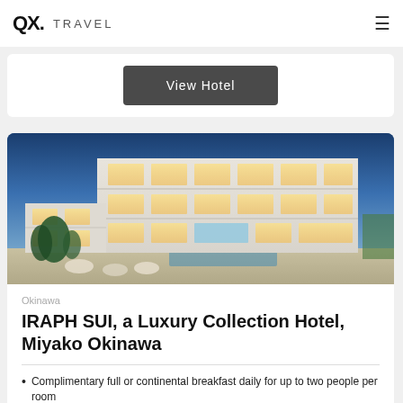QX TRAVEL
View Hotel
[Figure (photo): Exterior photo of IRAPH SUI hotel building at dusk, a modern white multi-story structure with large glass windows and balconies, illuminated from inside, with trees in the foreground and a blue evening sky]
Okinawa
IRAPH SUI, a Luxury Collection Hotel, Miyako Okinawa
Complimentary full or continental breakfast daily for up to two people per room